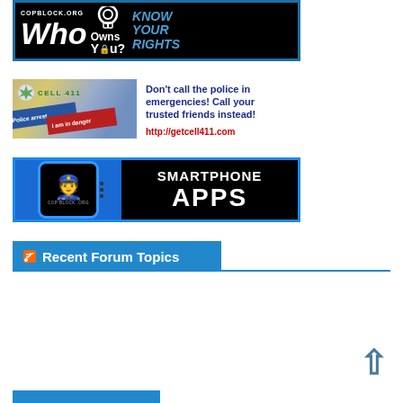[Figure (illustration): CopBlock.org banner: 'Who Owns You? Know Your Rights' on black background with handcuffs graphic and blue border]
[Figure (illustration): Cell 411 app advertisement: logo with map background, police arrest / I am in danger labels, blue and red bars. Text: 'Don't call the police in emergencies! Call your trusted friends instead! http://getcell411.com']
[Figure (illustration): CopBlock.org Smartphone Apps advertisement: blue phone graphic with cop figure, 'SMARTPHONE APPS' text on black background with blue border]
Recent Forum Topics